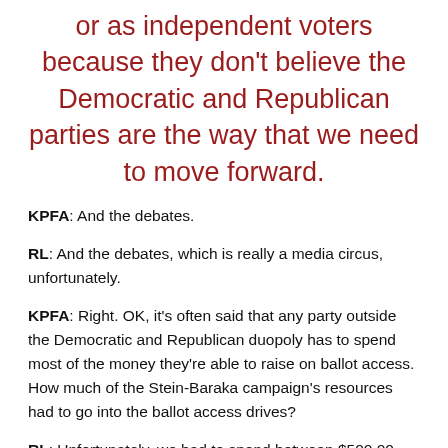or as independent voters because they don't believe the Democratic and Republican parties are the way that we need to move forward.
KPFA: And the debates.
RL: And the debates, which is really a media circus, unfortunately.
KPFA: Right. OK, it's often said that any party outside the Democratic and Republican duopoly has to spend most of the money they're able to raise on ballot access. How much of the Stein-Baraka campaign's resources had to go into the ballot access drives?
RL: Unfortunately, we had to spend between $500,00 and